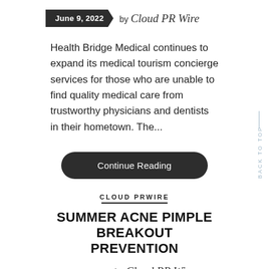June 9, 2022 by Cloud PR Wire
Health Bridge Medical continues to expand its medical tourism concierge services for those who are unable to find quality medical care from trustworthy physicians and dentists in their hometown. The...
Continue Reading
CLOUD PRWIRE
SUMMER ACNE PIMPLE BREAKOUT PREVENTION
by Cloud PR Wire